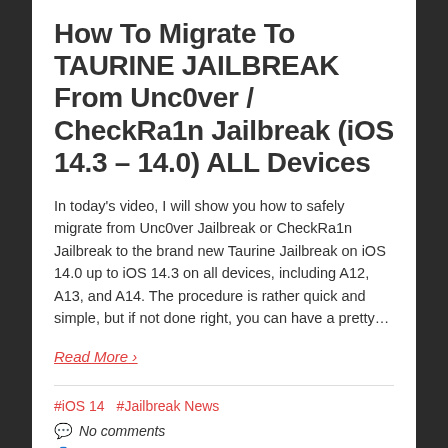How To Migrate To TAURINE JAILBREAK From Unc0ver / CheckRa1n Jailbreak (iOS 14.3 – 14.0) ALL Devices
In today's video, I will show you how to safely migrate from Unc0ver Jailbreak or CheckRa1n Jailbreak to the brand new Taurine Jailbreak on iOS 14.0 up to iOS 14.3 on all devices, including A12, A13, and A14. The procedure is rather quick and simple, but if not done right, you can have a pretty…
Read More ›
#iOS 14   #Jailbreak News
No comments
GeoSn0w
APRIL 3, 2021